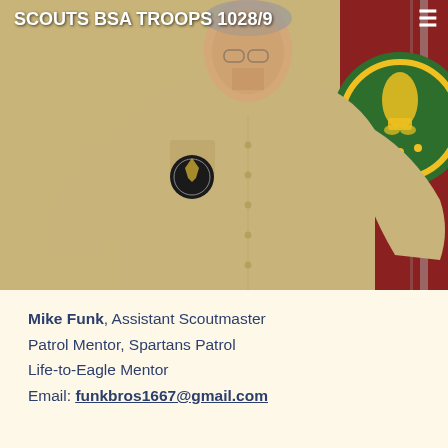SCOUTS BSA TROOPS 1028/9
[Figure (photo): Man wearing a tan/khaki BSA scout uniform shirt with patches, standing in front of a BSA emblem on a red background]
Mike Funk, Assistant Scoutmaster
Patrol Mentor, Spartans Patrol
Life-to-Eagle Mentor
Email: funkbros1667@gmail.com